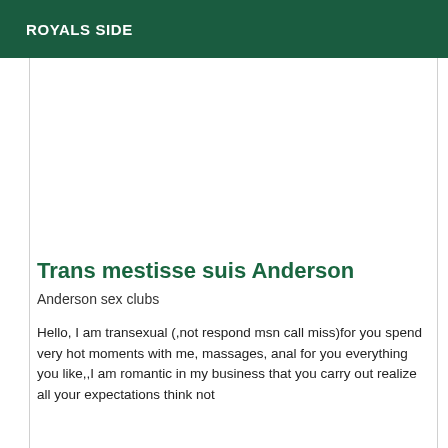ROYALS SIDE
Trans mestisse suis Anderson
Anderson sex clubs
Hello, I am transexual (,not respond msn call miss)for you spend very hot moments with me, massages, anal for you everything you like,,I am romantic in my business that you carry out realize all your expectations think not